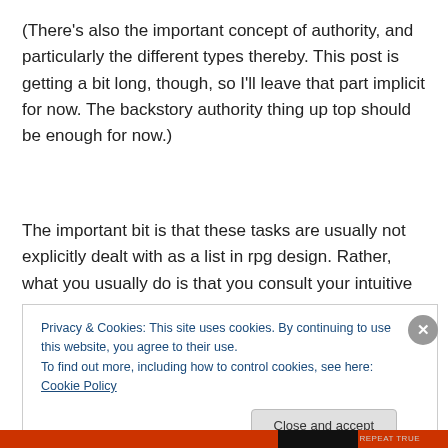(There's also the important concept of authority, and particularly the different types thereby. This post is getting a bit long, though, so I'll leave that part implicit for now. The backstory authority thing up top should be enough for now.)
The important bit is that these tasks are usually not explicitly dealt with as a list in rpg design. Rather, what you usually do is that you consult your intuitive
Privacy & Cookies: This site uses cookies. By continuing to use this website, you agree to their use.
To find out more, including how to control cookies, see here: Cookie Policy
Close and accept